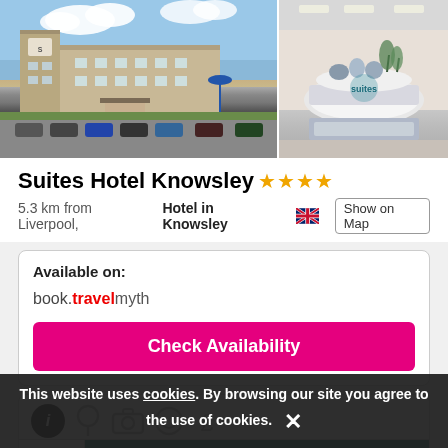[Figure (photo): Two hotel photos side by side: left shows exterior of Suites Hotel Knowsley building with parking lot; right shows hotel lobby interior with circular reception desk and decorative arrangement.]
Suites Hotel Knowsley ★★★★
5.3 km from Liverpool, Hotel in Knowsley 🇬🇧 Show on Map
Available on:
book.travelmyth
Check Availability
Info
Categories 1
This website uses cookies. By browsing our site you agree to the use of cookies.